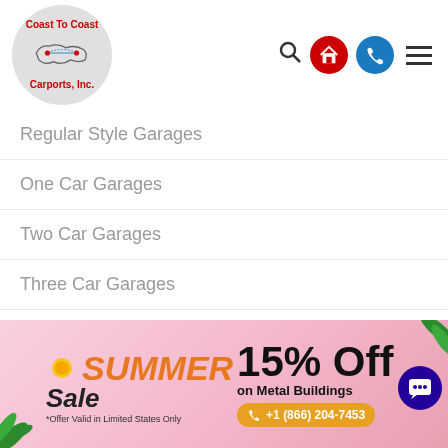[Figure (logo): Coast To Coast Carports, Inc. logo in a circular grey badge with a map of the USA]
Regular Style Garages
One Car Garages
Two Car Garages
Three Car Garages
Metal Garage Prices
RV Garages
Metal Buildings
Metal Building Homes
[Figure (infographic): Summer Sale banner: 15% Off on Metal Buildings, *Offer Valid in Limited States Only, phone number +1 (866) 204-7453]